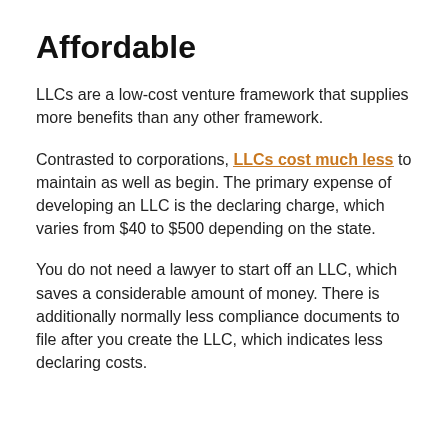Affordable
LLCs are a low-cost venture framework that supplies more benefits than any other framework.
Contrasted to corporations, LLCs cost much less to maintain as well as begin. The primary expense of developing an LLC is the declaring charge, which varies from $40 to $500 depending on the state.
You do not need a lawyer to start off an LLC, which saves a considerable amount of money. There is additionally normally less compliance documents to file after you create the LLC, which indicates less declaring costs.